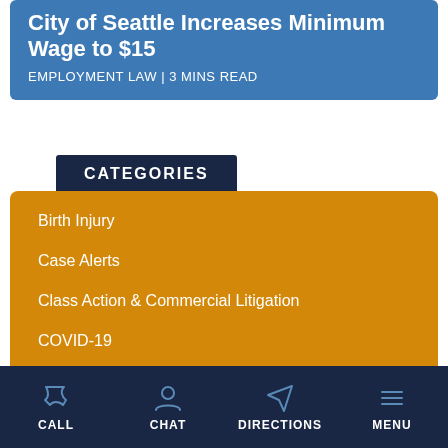City of Seattle Increases Minimum Wage to $15
EMPLOYMENT LAW | 3 MINS READ
CATEGORIES
Birth Injury
Case Alerts
Class Action & Commercial Litigation
COVID-19
Defective Devices and Dangerous Drugs
Employment Law
CALL  CHAT  DIRECTIONS  MENU